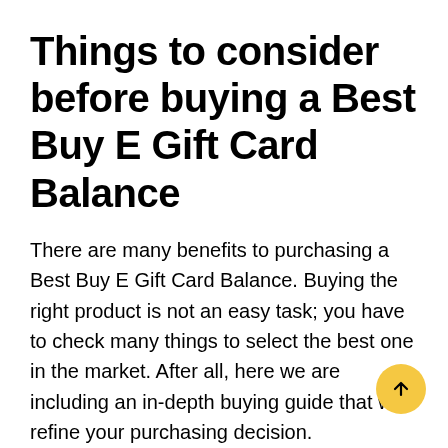Things to consider before buying a Best Buy E Gift Card Balance
There are many benefits to purchasing a Best Buy E Gift Card Balance. Buying the right product is not an easy task; you have to check many things to select the best one in the market. After all, here we are including an in-depth buying guide that will refine your purchasing decision.
Suppose you're new to ratings and reviews or